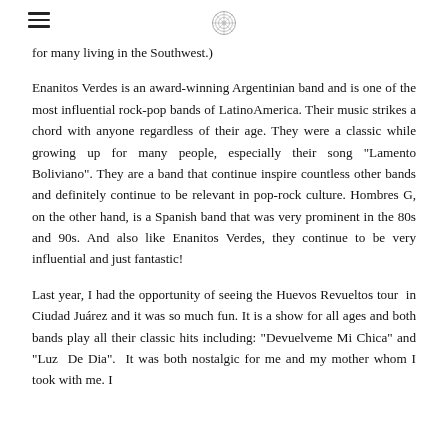[hamburger menu icon] [circular logo icon]
for many living in the Southwest.)
Enanitos Verdes is an award-winning Argentinian band and is one of the most influential rock-pop bands of LatinoAmerica. Their music strikes a chord with anyone regardless of their age. They were a classic while growing up for many people, especially their song "Lamento Boliviano". They are a band that continue inspire countless other bands and definitely continue to be relevant in pop-rock culture. Hombres G, on the other hand, is a Spanish band that was very prominent in the 80s and 90s. And also like Enanitos Verdes, they continue to be very influential and just fantastic!
Last year, I had the opportunity of seeing the Huevos Revueltos tour in Ciudad Juárez and it was so much fun. It is a show for all ages and both bands play all their classic hits including: "Devuelveme Mi Chica" and "Luz De Dia". It was both nostalgic for me and my mother whom I took with me. I